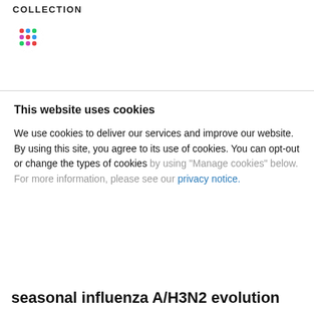COLLECTION
[Figure (logo): Circular logo with colorful dots in a grid pattern on white background]
This website uses cookies
We use cookies to deliver our services and improve our website. By using this site, you agree to its use of cookies. You can opt-out or change the types of cookies by using “Manage cookies” below. For more information, please see our privacy notice.
Manage cookies ›
OK
Powered by Cookiebot by Usercentrics
seasonal influenza A/H3N2 evolution